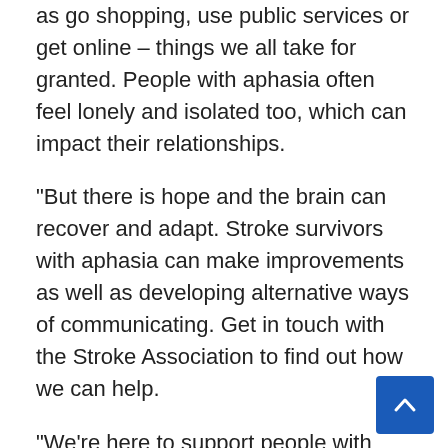as go shopping, use public services or get online – things we all take for granted. People with aphasia often feel lonely and isolated too, which can impact their relationships.
“But there is hope and the brain can recover and adapt. Stroke survivors with aphasia can make improvements as well as developing alternative ways of communicating. Get in touch with the Stroke Association to find out how we can help.
“We’re here to support people with aphasia to rebuild their lives and to regain their confidence and independence. Our “Getting Online for People with Aphasia” guide equips you with the skills you need to get online, keep in touch with family and friends and to connect with the